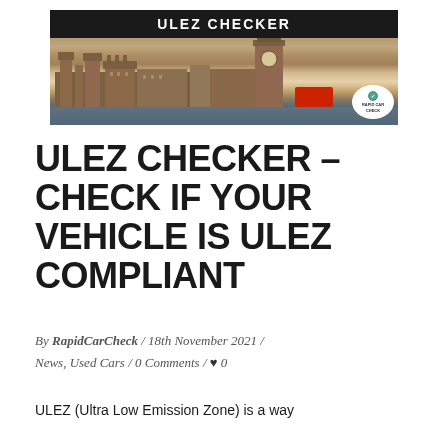[Figure (photo): ULEZ Checker banner with photo of Houses of Parliament / Westminster, London, with a red double-decker bus, and a Rapid Car Check logo badge. Dark header bar with 'ULEZ CHECKER' text in white.]
ULEZ CHECKER – CHECK IF YOUR VEHICLE IS ULEZ COMPLIANT
By RapidCarCheck / 18th November 2021 / News, Used Cars / 0 Comments / ♥ 0
ULEZ (Ultra Low Emission Zone) is a way to check your vehicle's compliance.